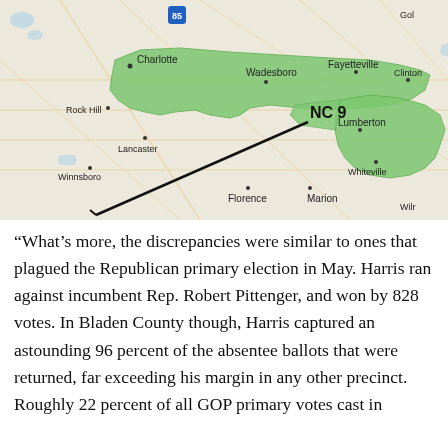[Figure (map): Map of North Carolina congressional district NC 9, showing a highlighted green region stretching from Charlotte area through Wadesboro to Lumberton and toward Whiteville. Cities labeled include Charlotte, Rock Hill, Lancaster, Winnsboro, Wadesboro, Fayetteville, Clinton, Lumberton, Whiteville, Florence, Marion, and partially Wilmington. Interstate 85 shown near Charlotte. A black pointer line extends from the NC 9 label into the district.]
“What’s more, the discrepancies were similar to ones that plagued the Republican primary election in May. Harris ran against incumbent Rep. Robert Pittenger, and won by 828 votes. In Bladen County though, Harris captured an astounding 96 percent of the absentee ballots that were returned, far exceeding his margin in any other precinct. Roughly 22 percent of all GOP primary votes cast in